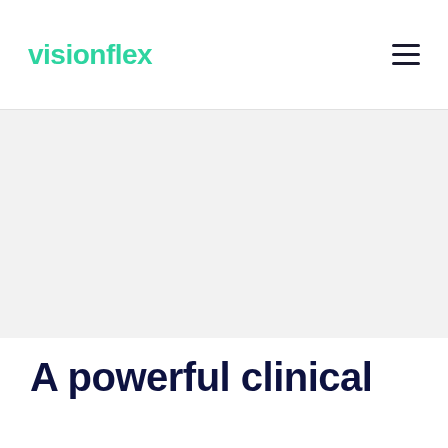visionflex
[Figure (other): Light gray hero banner area, empty background section]
A powerful clinical